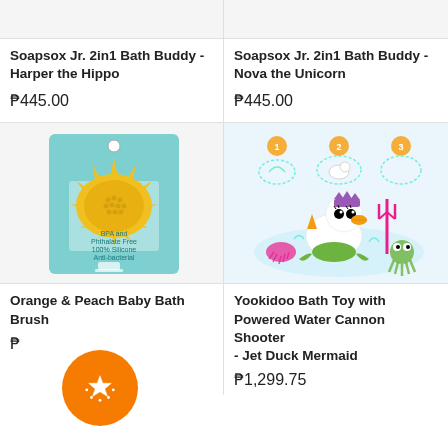[Figure (photo): Partial top of product image for Soapsox Jr. 2in1 Bath Buddy - Harper the Hippo]
[Figure (photo): Partial top of product image for Soapsox Jr. 2in1 Bath Buddy - Nova the Unicorn]
Soapsox Jr. 2in1 Bath Buddy - Harper the Hippo
₱445.00
Soapsox Jr. 2in1 Bath Buddy - Nova the Unicorn
₱445.00
[Figure (photo): Orange & Peach Baby Bath Brush - yellow silicone brush shaped like a sun/hedgehog in teal packaging, labeled BPA and phthalate free, 100% silicone, anti-bacterial]
[Figure (photo): Yookidoo Bath Toy with Powered Water Cannon Shooter - Jet Duck Mermaid, showing duck mermaid toy with accessories and step diagrams]
Orange & Peach Baby Bath Brush
₱
Yookidoo Bath Toy with Powered Water Cannon Shooter - Jet Duck Mermaid
₱1,299.75
[Figure (other): Orange circular FAB button with white star/badge icon]